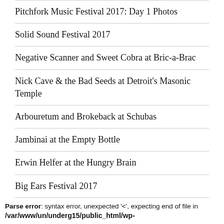Pitchfork Music Festival 2017: Day 1 Photos
Solid Sound Festival 2017
Negative Scanner and Sweet Cobra at Bric-a-Brac
Nick Cave & the Bad Seeds at Detroit's Masonic Temple
Arbouretum and Brokeback at Schubas
Jambinai at the Empty Bottle
Erwin Helfer at the Hungry Brain
Big Ears Festival 2017
Parse error: syntax error, unexpected '<', expecting end of file in /var/www/un/underg15/public_html/wp-